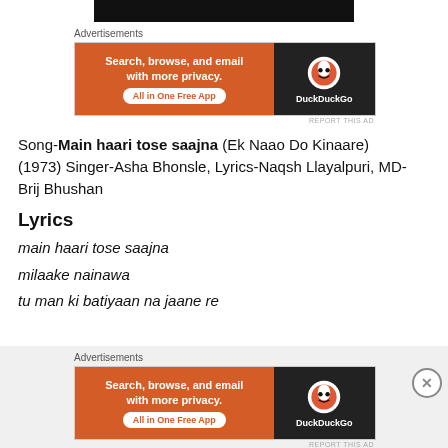[Figure (other): Black top bar (partially visible at top of page)]
[Figure (other): DuckDuckGo advertisement banner — 'Search, browse, and email with more privacy. All in One Free App' on orange background with DuckDuckGo logo on dark background. Label 'Advertisements' above.]
Song-Main haari tose saajna (Ek Naao Do Kinaare) (1973) Singer-Asha Bhonsle, Lyrics-Naqsh Llayalpuri, MD-Brij Bhushan
Lyrics
main haari tose saajna
milaake nainawa
tu man ki batiyaan na jaane re
[Figure (other): DuckDuckGo advertisement banner at bottom — 'Search, browse, and email with more privacy. All in One Free App' on orange background with DuckDuckGo logo on dark background. Label 'Advertisements' above. Close button (X in circle) on right side.]